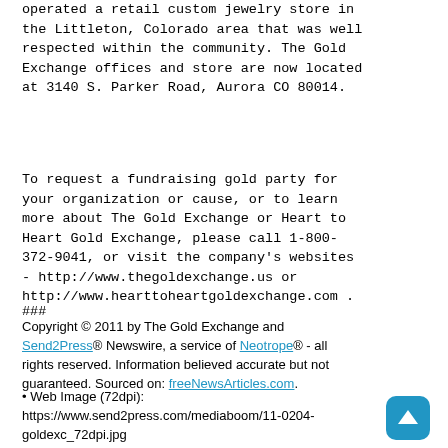operated a retail custom jewelry store in the Littleton, Colorado area that was well respected within the community. The Gold Exchange offices and store are now located at 3140 S. Parker Road, Aurora CO 80014.
To request a fundraising gold party for your organization or cause, or to learn more about The Gold Exchange or Heart to Heart Gold Exchange, please call 1-800-372-9041, or visit the company's websites - http://www.thegoldexchange.us or http://www.hearttoheartgoldexchange.com .
###
Copyright © 2011 by The Gold Exchange and Send2Press® Newswire, a service of Neotrope® - all rights reserved. Information believed accurate but not guaranteed. Sourced on: freeNewsArticles.com.
• Web Image (72dpi): https://www.send2press.com/mediaboom/11-0204-goldexc_72dpi.jpg